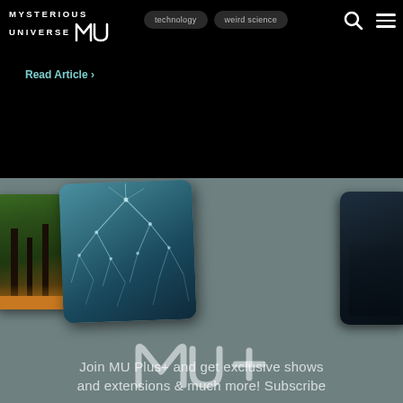MYSTERIOUS UNIVERSE | technology | weird science
Read Article ›
[Figure (illustration): MU Plus+ subscription promotional banner with three overlapping cards (forest scene, aqua lightning/network pattern, dark figure), MU+ logo, and join text on grey-blue background.]
Join MU Plus+ and get exclusive shows and extensions & much more! Subscribe